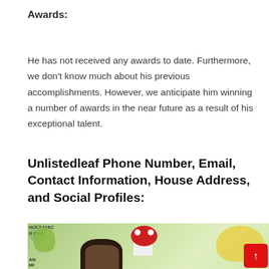Awards:
He has not received any awards to date. Furthermore, we don't know much about his previous accomplishments. However, we anticipate him winning a number of awards in the near future as a result of his exceptional talent.
Unlistedleaf Phone Number, Email, Contact Information, House Address, and Social Profiles:
[Figure (photo): Photo of a young person in front of a colorful background decorated with Pokemon characters and fan art, partially visible]